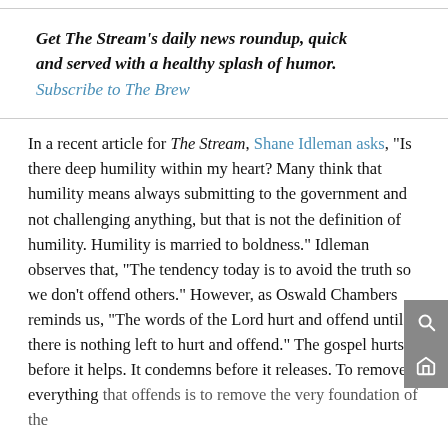Get The Stream's daily news roundup, quick and served with a healthy splash of humor. Subscribe to The Brew
In a recent article for The Stream, Shane Idleman asks, "Is there deep humility within my heart? Many think that humility means always submitting to the government and not challenging anything, but that is not the definition of humility. Humility is married to boldness." Idleman observes that, "The tendency today is to avoid the truth so we don't offend others." However, as Oswald Chambers reminds us, "The words of the Lord hurt and offend until there is nothing left to hurt and offend." The gospel hurts before it helps. It condemns before it releases. To remove everything that offends is to remove the very foundation of the...